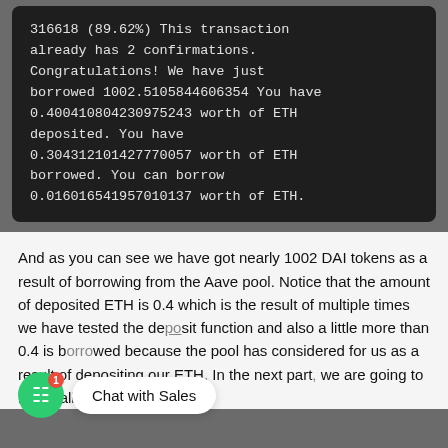316618 (89.62%) This transaction already has 2 confirmations. Congratulations! We have just borrowed 1002.5105844606354 You have 0.400410804230975243 worth of ETH deposited. You have 0.304312101427770057 worth of ETH borrowed. You can borrow 0.016016541957010137 worth of ETH.
And as you can see we have got nearly 1002 DAI tokens as a result of borrowing from the Aave pool. Notice that the amount of deposited ETH is 0.4 which is the result of multiple times we have tested the deposit function and also a little more than 0.4 is borrowed because the pool has considered for us as a result of depositing our ETH. In the next part, we are going to repay all of the borrowed DAI